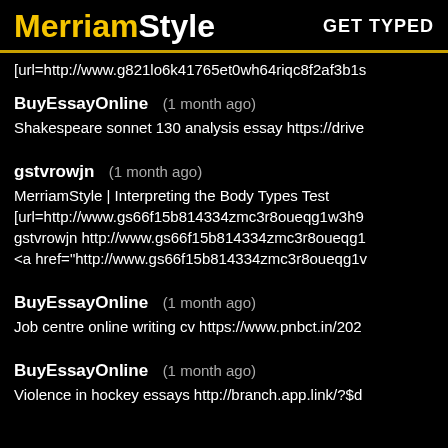MerriamStyle  GET TYPED
[url=http://www.g821lo6k41765et0wh64riqc8f2af3b1s
BuyEssayOnline (1 month ago)
Shakespeare sonnet 130 analysis essay https://drive
gstvrowjn (1 month ago)
MerriamStyle | Interpreting the Body Types Test
[url=http://www.gs66f15b814334zmc3r8oueqg1w3h9
gstvrowjn http://www.gs66f15b814334zmc3r8oueqg1
<a href="http://www.gs66f15b814334zmc3r8oueqg1v
BuyEssayOnline (1 month ago)
Job centre online writing cv https://www.pnbct.in/202
BuyEssayOnline (1 month ago)
Violence in hockey essays http://branch.app.link/?$d